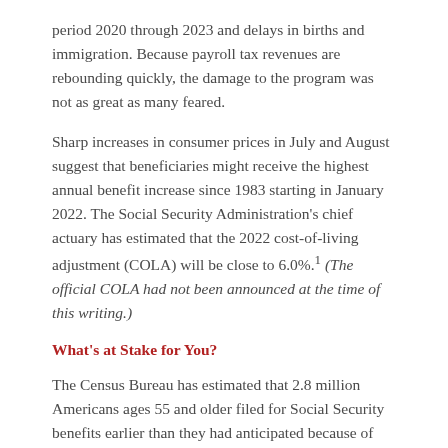period 2020 through 2023 and delays in births and immigration. Because payroll tax revenues are rebounding quickly, the damage to the program was not as great as many feared.
Sharp increases in consumer prices in July and August suggest that beneficiaries might receive the highest annual benefit increase since 1983 starting in January 2022. The Social Security Administration's chief actuary has estimated that the 2022 cost-of-living adjustment (COLA) will be close to 6.0%.1 (The official COLA had not been announced at the time of this writing.)
What's at Stake for You?
The Census Bureau has estimated that 2.8 million Americans ages 55 and older filed for Social Security benefits earlier than they had anticipated because of COVID-19.2 Many older workers may have been pushed into retirement after losing their jobs or